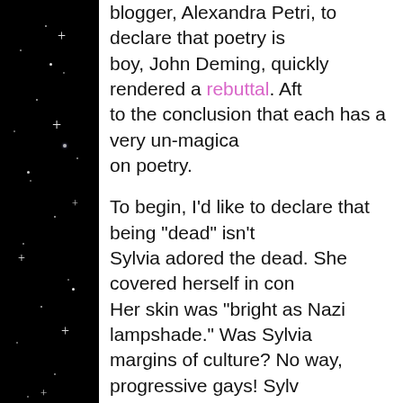blogger, Alexandra Petri, to declare that poetry is [dead]. boy, John Deming, quickly rendered a rebuttal. Aft[er coming] to the conclusion that each has a very un-magica[l] [view] on poetry.

To begin, I'd like to declare that being "dead" isn't [bad]. Sylvia adored the dead. She covered herself in con[fetti]. Her skin was "bright as Nazi lampshade." Was Sylvia [at the] margins of culture? No way, progressive gays! Sylv[ia loved] her daddy and her canonized poet husband. Char[les, one of] best boy poets ever, sought the dead too. In "Splee[n," says] his skull holds "more corpses than a common grav[eyard." It] doesn't disadvantage Charles either. He's a dandy -[a man] superior to humans, a boy who follows his own sp[irit. Dead] are special and unique. They're much more power[ful. Being] someone or something dead is a term of incredibl[e power to] be embraced.